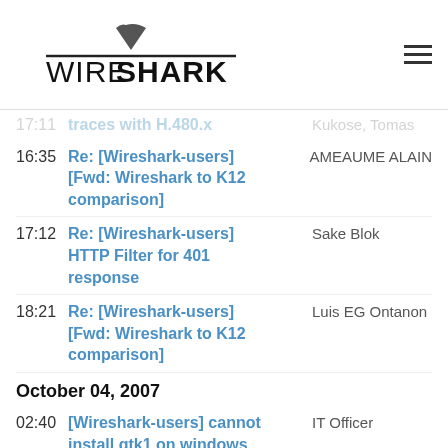Wireshark logo and navigation
traces with H.480.x — Kukose, Tomas (partial, faded)
16:35 — Re: [Wireshark-users] [Fwd: Wireshark to K12 comparison] — AMEAUME ALAIN
17:12 — Re: [Wireshark-users] HTTP Filter for 401 response — Sake Blok
18:21 — Re: [Wireshark-users] [Fwd: Wireshark to K12 comparison] — Luis EG Ontanon
October 04, 2007
02:40 — [Wireshark-users] cannot install gtk1 on windows 2k ... option not selectable ... — IT Officer
07:00 — Re: [Wireshark-users]... — ... (partial, cut off)